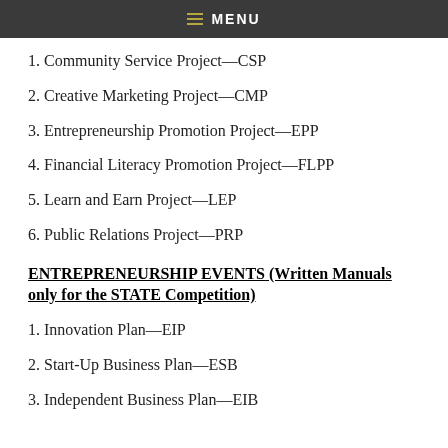☰ MENU
1. Community Service Project—CSP
2. Creative Marketing Project—CMP
3. Entrepreneurship Promotion Project—EPP
4. Financial Literacy Promotion Project—FLPP
5. Learn and Earn Project—LEP
6. Public Relations Project—PRP
ENTREPRENEURSHIP EVENTS (Written Manuals only for the STATE Competition)
1. Innovation Plan—EIP
2. Start-Up Business Plan—ESB
3. Independent Business Plan—EIB